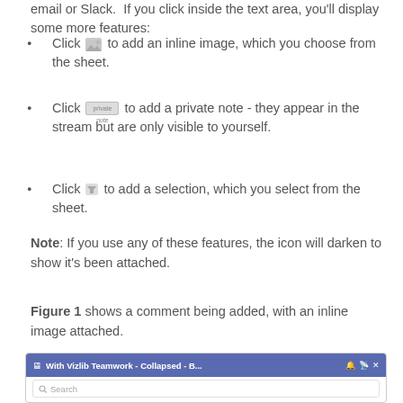email or Slack. If you click inside the text area, you'll display some more features:
Click [image icon] to add an inline image, which you choose from the sheet.
Click [private icon] to add a private note - they appear in the stream but are only visible to yourself.
Click [filter icon] to add a selection, which you select from the sheet.
Note: If you use any of these features, the icon will darken to show it's been attached.
Figure 1 shows a comment being added, with an inline image attached.
[Figure (screenshot): Screenshot of Vizlib Teamwork panel showing a collapsed view titled 'With Vizlib Teamwork - Collapsed - B...' with a bell icon, RSS icon, and X close button. Below the header is a search bar with placeholder text 'Search'. The bottom portion shows a white area with a speech bubble icon and a blue circle with three dots.]